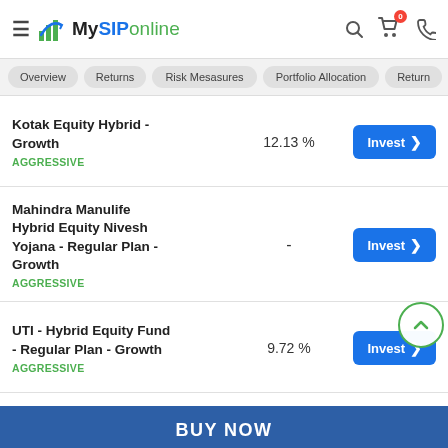MySIPonline
Overview
Returns
Risk Mesasures
Portfolio Allocation
Return
Kotak Equity Hybrid - Growth
AGGRESSIVE
12.13 %
Mahindra Manulife Hybrid Equity Nivesh Yojana - Regular Plan - Growth
AGGRESSIVE
-
UTI - Hybrid Equity Fund - Regular Plan - Growth
AGGRESSIVE
9.72 %
BUY NOW